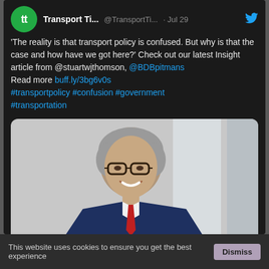[Figure (screenshot): A tweet from @TransportTi... (Transport Ti...) dated Jul 29. The tweet reads: 'The reality is that transport policy is confused. But why is that the case and how have we got here?' Check out our latest Insight article from @stuartwjthomson, @BDBpitmans Read more buff.ly/3bg6v0s #transportpolicy #confusion #government #transportation. Below the text is a photo of a man wearing glasses, a navy suit, white shirt and red tie, smiling. Actions show 0 comments and 1 like.]
This website uses cookies to ensure you get the best experience